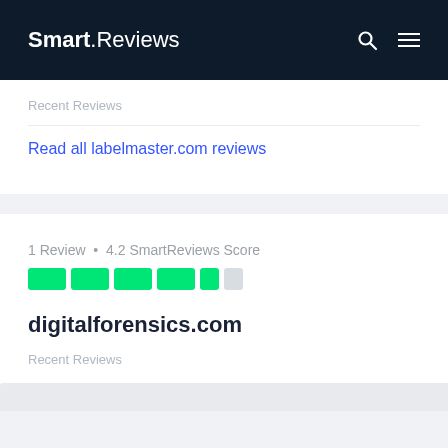Smart.Reviews
Recent Reviews
Read all labelmaster.com reviews
1 Review • 4.2 SmartReviews Score
digitalforensics.com
Recent Reviews